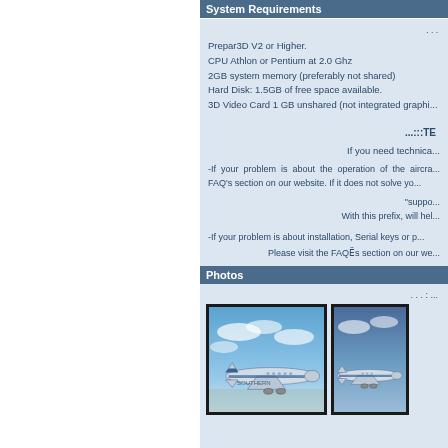System Requirements
Prepar3D V2 or Higher.
CPU Athlon or Pentium at 2.0 Ghz
2GB system memory (preferably not shared)
Hard Disk: 1.5GB of free space available.
3D Video Card 1 GB unshared (not integrated graphi...
..:::TE...
If you need technica...
-If your problem is about the operation of the aircra... FAQ's section on our website. If it does not solve yo...
"suppo...
With this prefix, will hel...
-If your problem is about installation, Serial keys or p...
Please visit the FAQË¯s section on our we...
Photos
... : ...
[Figure (photo): Two airplane photos side by side showing aircraft in flight against blue sky background]